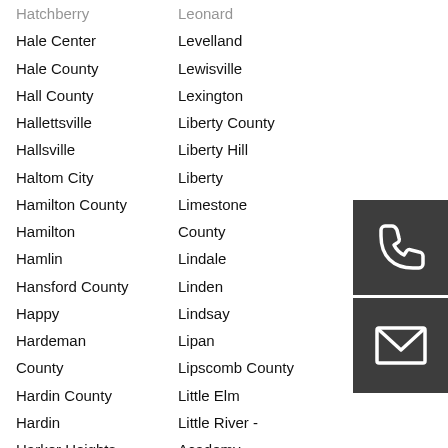Hale Center
Hale County
Hall County
Hallettsville
Hallsville
Haltom City
Hamilton County
Hamilton
Hamlin
Hansford County
Happy
Hardeman County
Hardin County
Hardin
Harker Heights
Harlingen
Harris County
Levelland
Lewisville
Lexington
Liberty County
Liberty Hill
Liberty
Limestone County
Lindale
Linden
Lindsay
Lipan
Lipscomb County
Little Elm
Little River - Academy
Littlefield
Live Oak County
[Figure (illustration): Phone handset icon on dark grey background]
[Figure (illustration): Envelope/mail icon on dark grey background]